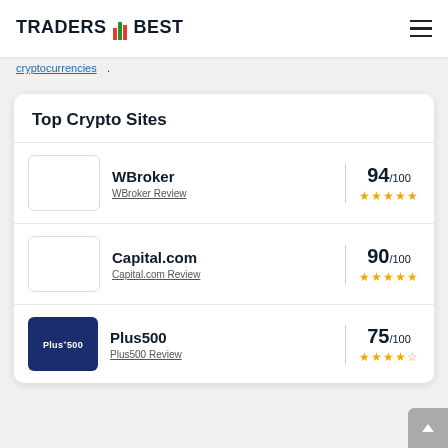TRADERS BEST
cryptocurrencies.
Top Crypto Sites
| Logo | Broker | Score | Stars |
| --- | --- | --- | --- |
|  | WBroker / WBroker Review | 94/100 | ★★★★★ |
|  | Capital.com / Capital.com Review | 90/100 | ★★★★★ |
| Plus500 | Plus500 / Plus500 Review | 75/100 | ★★★★☆ |